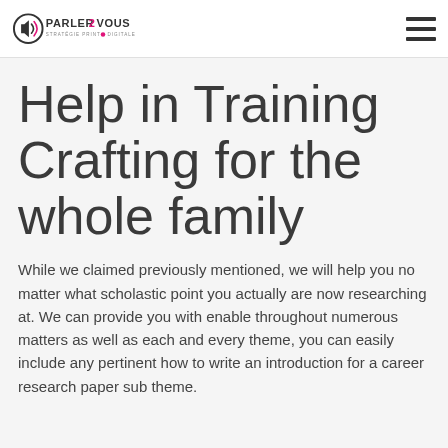PARLER2VOUS STRATÉGIE PRINT & DIGITALE
Help in Training Crafting for the whole family
While we claimed previously mentioned, we will help you no matter what scholastic point you actually are now researching at. We can provide you with enable throughout numerous matters as well as each and every theme, you can easily include any pertinent how to write an introduction for a career research paper sub theme.